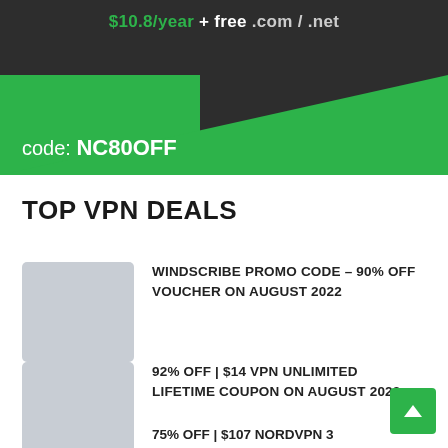[Figure (illustration): Dark-themed promotional banner with green accents showing '$10.8/year + free .com/.net' and coupon code 'NC80OFF']
TOP VPN DEALS
WINDSCRIBE PROMO CODE – 90% OFF VOUCHER ON AUGUST 2022
92% OFF | $14 VPN UNLIMITED LIFETIME COUPON ON AUGUST 2022
75% OFF | $107 NORDVPN 3